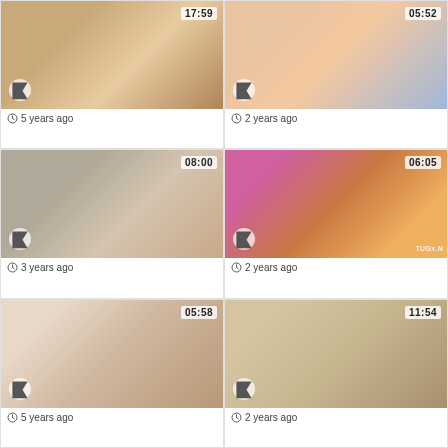[Figure (photo): Video thumbnail 1, duration 17:59]
5 years ago
[Figure (photo): Video thumbnail 2, duration 05:52]
2 years ago
[Figure (photo): Video thumbnail 3, duration 08:00]
3 years ago
[Figure (photo): Video thumbnail 4, duration 06:05]
2 years ago
[Figure (photo): Video thumbnail 5, duration 05:58]
5 years ago
[Figure (photo): Video thumbnail 6, duration 11:54]
2 years ago